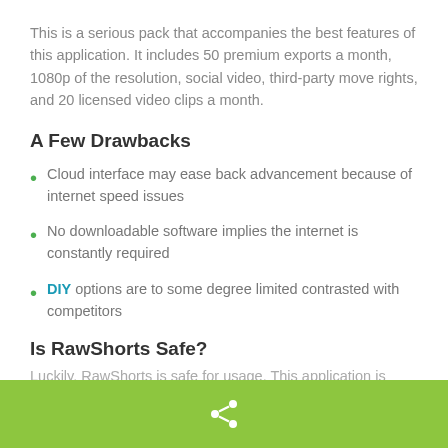This is a serious pack that accompanies the best features of this application. It includes 50 premium exports a month, 1080p of the resolution, social video, third-party move rights, and 20 licensed video clips a month.
A Few Drawbacks
Cloud interface may ease back advancement because of internet speed issues
No downloadable software implies the internet is constantly required
DIY options are to some degree limited contrasted with competitors
Is RawShorts Safe?
Luckily, RawShorts is safe for usage. This application is